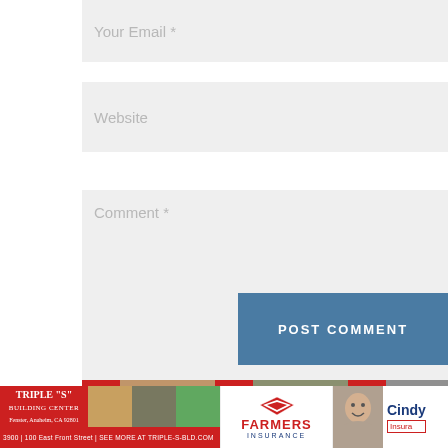[Figure (screenshot): Website comment form with fields: Your Email *, Website, Comment *, and a POST COMMENT button]
[Figure (photo): Strip showing three portrait photos of people with red accents]
[Figure (infographic): Bottom advertisement bar with Triple S Building Center ad, Farmers Insurance ad, and Cindy Insurance agent ad]